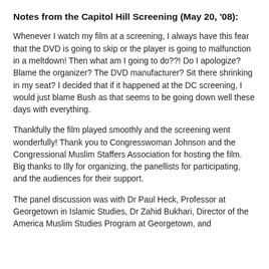Notes from the Capitol Hill Screening (May 20, '08):
Whenever I watch my film at a screening, I always have this fear that the DVD is going to skip or the player is going to malfunction in a meltdown! Then what am I going to do??! Do I apologize? Blame the organizer? The DVD manufacturer? Sit there shrinking in my seat? I decided that if it happened at the DC screening, I would just blame Bush as that seems to be going down well these days with everything.
Thankfully the film played smoothly and the screening went wonderfully! Thank you to Congresswoman Johnson and the Congressional Muslim Staffers Association for hosting the film. Big thanks to Illy for organizing, the panellists for participating, and the audiences for their support.
The panel discussion was with Dr Paul Heck, Professor at Georgetown in Islamic Studies, Dr Zahid Bukhari, Director of the America Muslim Studies Program at Georgetown, and